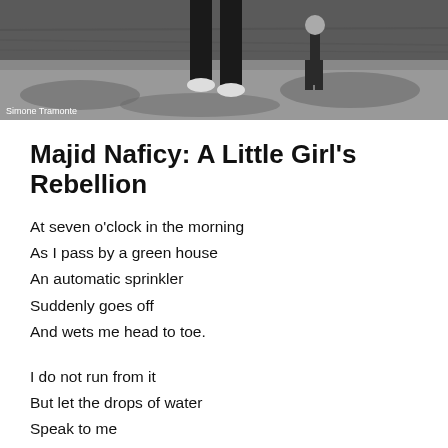[Figure (photo): Black and white photograph of a person standing on rocky ground near water, viewed from waist down. Photo credit: Simone Tramonte]
Majid Naficy: A Little Girl's Rebellion
At seven o'clock in the morning
As I pass by a green house
An automatic sprinkler
Suddenly goes off
And wets me head to toe.
I do not run from it
But let the drops of water
Speak to me
Of a hot summer afternoon